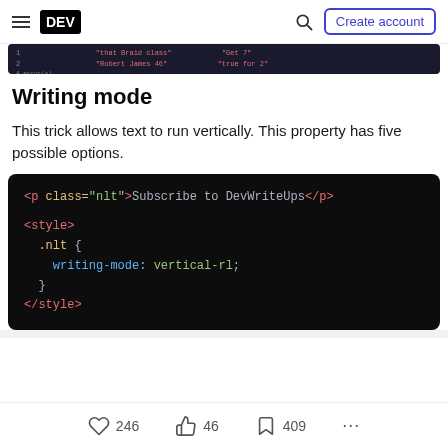DEV | Create account
[Figure (screenshot): Partial code snippet visible at top of page, showing rows of red-colored text on dark background]
Writing mode
This trick allows text to run vertically. This property has five possible options.
[Figure (screenshot): Code block on dark background showing HTML and CSS for writing-mode: vertical-rl. Code: <p class="nlt">Subscribe to DevWriteUps</p> and <style> .nlt { writing-mode: vertical-rl; } </style>]
246  46  409  ...